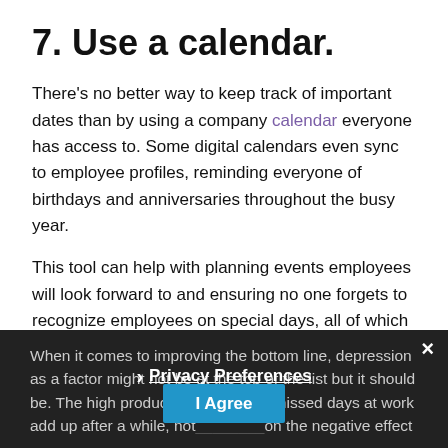7. Use a calendar.
There's no better way to keep track of important dates than by using a company calendar everyone has access to. Some digital calendars even sync to employee profiles, reminding everyone of birthdays and anniversaries throughout the busy year.
This tool can help with planning events employees will look forward to and ensuring no one forgets to recognize employees on special days, all of which makes depression that much less likely.
When it comes to improving the bottom line, depression as a factor might not be at the top of the list but it should be. The high productivity costs and missed days at work add up after a while, not to mention the negative effect
[Figure (screenshot): Privacy Preferences cookie consent banner overlay with close button (×), Privacy Preferences link with arrow, and I Agree button in blue.]